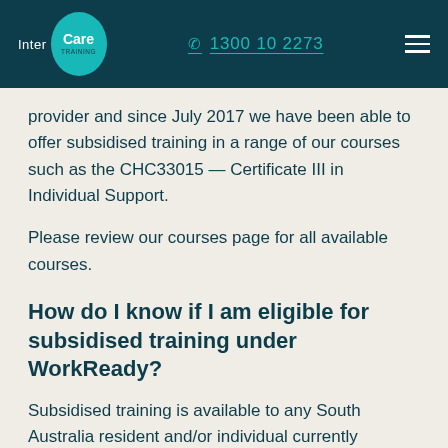Inter Care Training | 1300 10 2273
provider and since July 2017 we have been able to offer subsidised training in a range of our courses such as the CHC33015 — Certificate III in Individual Support.
Please review our courses page for all available courses.
How do I know if I am eligible for subsidised training under WorkReady?
Subsidised training is available to any South Australia resident and/or individual currently working within the state, an Australian or New Zealand citizen, or permanent Australian resident (including the holder of a state sponsored visa and on a pathway to a permanent